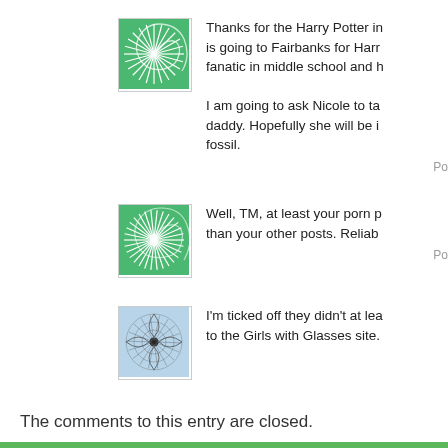Thanks for the Harry Potter info. My daughter is going to Fairbanks for Harry Potter. She was a fanatic in middle school and h...
I am going to ask Nicole to ta... daddy. Hopefully she will be i... fossil.
Po...
Well, TM, at least your porn p... than your other posts. Reliab...
Po...
I'm ticked off they didn't at lea... to the Girls with Glasses site.
The comments to this entry are closed.